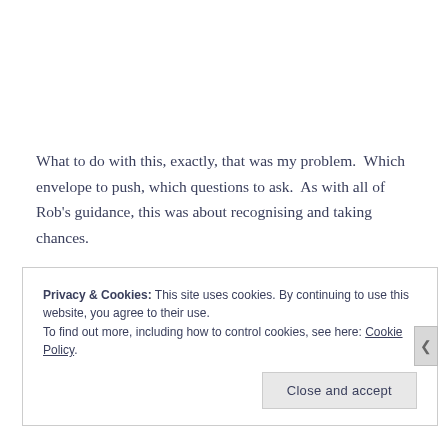What to do with this, exactly, that was my problem.  Which envelope to push, which questions to ask.  As with all of Rob's guidance, this was about recognising and taking chances.
Privacy & Cookies: This site uses cookies. By continuing to use this website, you agree to their use.
To find out more, including how to control cookies, see here: Cookie Policy